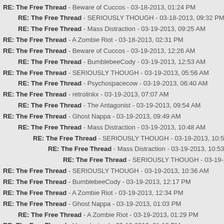RE: The Free Thread - Beware of Cuccos - 03-18-2013, 01:24 PM
RE: The Free Thread - SERIOUSLY THOUGH - 03-18-2013, 09:32 PM
RE: The Free Thread - Mass Distraction - 03-19-2013, 09:25 AM
RE: The Free Thread - A Zombie Riot - 03-18-2013, 02:31 PM
RE: The Free Thread - Beware of Cuccos - 03-19-2013, 12:26 AM
RE: The Free Thread - BumblebeeCody - 03-19-2013, 12:53 AM
RE: The Free Thread - SERIOUSLY THOUGH - 03-19-2013, 05:56 AM
RE: The Free Thread - Psychospacecow - 03-19-2013, 06:40 AM
RE: The Free Thread - retrolinkx - 03-19-2013, 07:07 AM
RE: The Free Thread - The Antagonist - 03-19-2013, 09:54 AM
RE: The Free Thread - Ghost Nappa - 03-19-2013, 09:49 AM
RE: The Free Thread - Mass Distraction - 03-19-2013, 10:48 AM
RE: The Free Thread - SERIOUSLY THOUGH - 03-19-2013, 10:52 AM
RE: The Free Thread - Mass Distraction - 03-19-2013, 10:53 AM
RE: The Free Thread - SERIOUSLY THOUGH - 03-19-2013, 11:26 AM
RE: The Free Thread - SERIOUSLY THOUGH - 03-19-2013, 10:36 AM
RE: The Free Thread - BumblebeeCody - 03-19-2013, 12:17 PM
RE: The Free Thread - A Zombie Riot - 03-19-2013, 12:34 PM
RE: The Free Thread - Ghost Nappa - 03-19-2013, 01:03 PM
RE: The Free Thread - A Zombie Riot - 03-19-2013, 01:29 PM
RE: The Free Thread - Hexadecimal - 03-19-2013, 01:18 PM
RE: The Free Thread - Ghost Nappa - 03-19-2013, 01:42 PM
RE: The Free Thread - SERIOUSLY THOUGH - 03-19-2013, 09:53 PM
RE: The Free Thread - Mass Distraction - 03-20-2013, 12:24 AM
RE: The Free Thread - A Zombie Riot - 03-20-2013, 02:36 AM